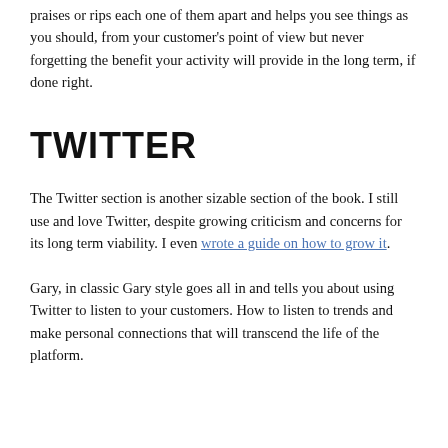praises or rips each one of them apart and helps you see things as you should, from your customer's point of view but never forgetting the benefit your activity will provide in the long term, if done right.
TWITTER
The Twitter section is another sizable section of the book. I still use and love Twitter, despite growing criticism and concerns for its long term viability. I even wrote a guide on how to grow it.
Gary, in classic Gary style goes all in and tells you about using Twitter to listen to your customers. How to listen to trends and make personal connections that will transcend the life of the platform.